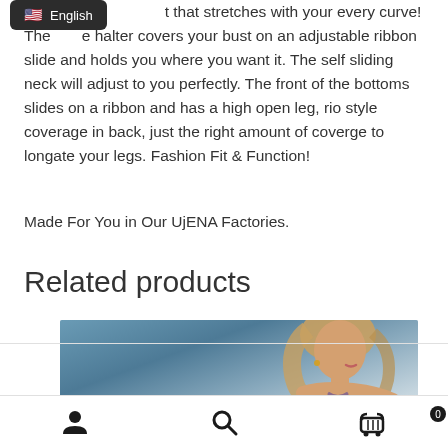plu... t that stretches with your every curve! The... e halter covers your bust on an adjustable ribbon slide and holds you where you want it. The self sliding neck will adjust to you perfectly. The front of the bottoms slides on a ribbon and has a high open leg, rio style coverage in back, just the right amount of coverge to longate your legs. Fashion Fit & Function!
Made For You in Our UjENA Factories.
Related products
[Figure (photo): Photo of a woman with blonde hair wearing a bikini top, shown in profile against a blue ocean/sky background.]